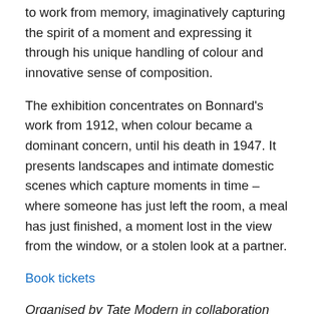to work from memory, imaginatively capturing the spirit of a moment and expressing it through his unique handling of colour and innovative sense of composition.
The exhibition concentrates on Bonnard’s work from 1912, when colour became a dominant concern, until his death in 1947. It presents landscapes and intimate domestic scenes which capture moments in time – where someone has just left the room, a meal has just finished, a moment lost in the view from the window, or a stolen look at a partner.
Book tickets
Organised by Tate Modern in collaboration with Ny Carlsberg Glyptotek, Copenhagen and Kunstforum Wien.